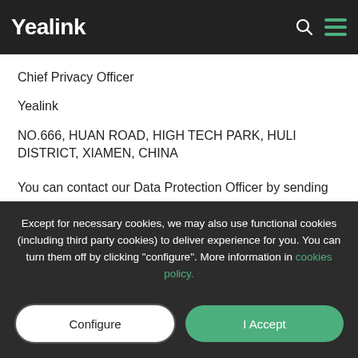Yealink
Should you have questions or comments related to this document, please contact us by sending mail to:
Chief Privacy Officer
Yealink
NO.666, HUAN ROAD, HIGH TECH PARK, HULI DISTRICT, XIAMEN, CHINA
You can contact our Data Protection Officer by sending an email to mailto:privacy@yealink.com.
Except for necessary cookies, we may also use functional cookies (including third party cookies) to deliver experience for you. You can turn them off by clicking "configure". More information in cookies policy.
SOLUTIONS   PRODUCTS   PARTNERS   CONTACT